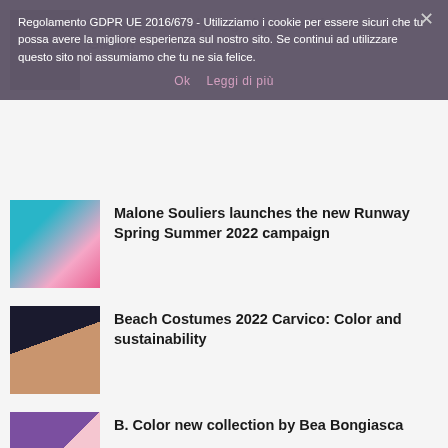Regolamento GDPR UE 2016/679 - Utilizziamo i cookie per essere sicuri che tu possa avere la migliore esperienza sul nostro sito. Se continui ad utilizzare questo sito noi assumiamo che tu ne sia felice.
Ok  Leggi di più
The Made in Italy bags by Lara Di Gianni
Malone Souliers launches the new Runway Spring Summer 2022 campaign
Beach Costumes 2022 Carvico: Color and sustainability
B. Color new collection by Bea Bongiasca
Jadea Girl Spring Summer 2022 new collection Underwear and casual clothing for every little girl